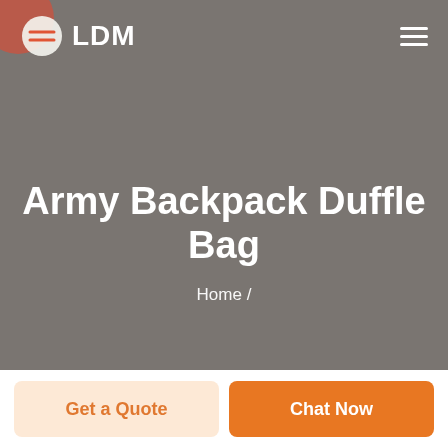LDM
Army Backpack Duffle Bag
Home /
Get a Quote
Chat Now